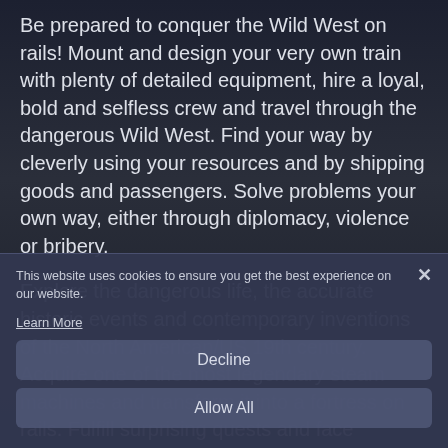Be prepared to conquer the Wild West on rails! Mount and design your very own train with plenty of detailed equipment, hire a loyal, bold and selfless crew and travel through the dangerous Wild West. Find your way by cleverly using your resources and by shipping goods and passengers. Solve problems your own way, either through diplomacy, violence or bribery.
Explore the dangerous life, the accurate historic events and contemporary inventions of the North American/US 19th century. Acquire one of the most legendary steam machines and transform it into a fortress on rails. Fulfill surprising quests and face notorious bandits, vengeful Natives and even more enemies. You can only achieve this journey of your life, if you pay attention to all these thrilling factors.
This website uses cookies to ensure you get the best experience on our website.
Learn More
Decline
Allow All
Control true to original locomotives, expand and